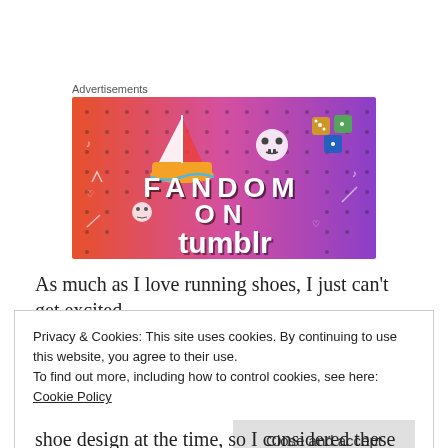Advertisements
[Figure (illustration): Fandom on Tumblr advertisement banner with colorful gradient background (orange to purple), featuring a sailboat illustration, skull icons, dice, and bold text reading FANDOM ON tumblr]
As much as I love running shoes, I just can't get excited
Privacy & Cookies: This site uses cookies. By continuing to use this website, you agree to their use.
To find out more, including how to control cookies, see here: Cookie Policy
Close and accept
shoe design at the time, so I considered these shoes to be